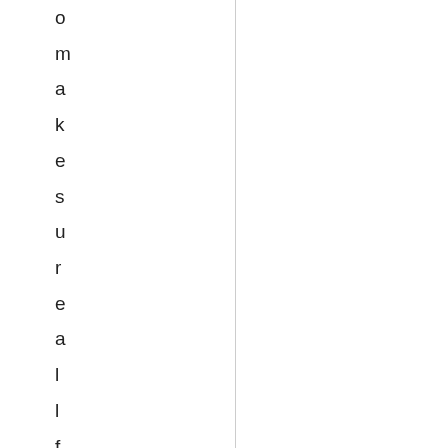o m a k e s u r e a l l f o o d i s s t i l l g o